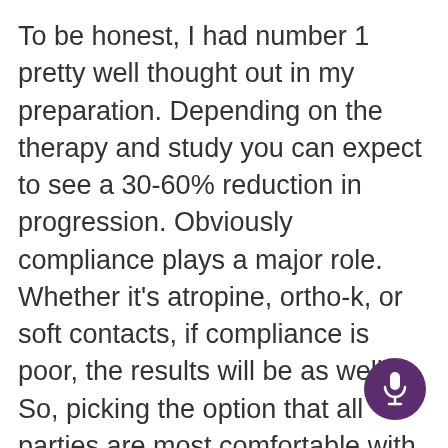To be honest, I had number 1 pretty well thought out in my preparation. Depending on the therapy and study you can expect to see a 30-60% reduction in progression. Obviously compliance plays a major role. Whether it's atropine, ortho-k, or soft contacts, if compliance is poor, the results will be as well. So, picking the option that all parties are most comfortable with is crucial. I do think that the doctor has to have a recommendation that they think is best in the case of the patient and make that known, which I did. We are the experts and should act as such taking the patient's/parents concerns into consideration. In regards to question number 2, I was not prepared and gave a roundabout answer. As you can imagine, I instantly went home and f[ound] answers that I will use going forward. In rega[rds to] atropine, higher doses of the drop saw quite a large